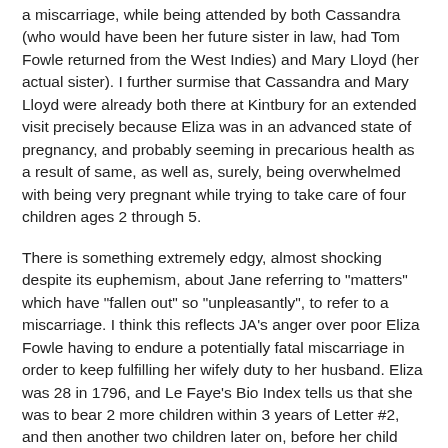a miscarriage, while being attended by both Cassandra (who would have been her future sister in law, had Tom Fowle returned from the West Indies) and Mary Lloyd (her actual sister). I further surmise that Cassandra and Mary Lloyd were already both there at Kintbury for an extended visit precisely because Eliza was in an advanced state of pregnancy, and probably seeming in precarious health as a result of same, as well as, surely, being overwhelmed with being very pregnant while trying to take care of four children ages 2 through 5.
There is something extremely edgy, almost shocking despite its euphemism, about Jane referring to "matters" which have "fallen out" so "unpleasantly", to refer to a miscarriage. I think this reflects JA's anger over poor Eliza Fowle having to endure a potentially fatal miscarriage in order to keep fulfilling her wifely duty to her husband. Eliza was 28 in 1796, and Le Faye's Bio Index tells us that she was to bear 2 more children within 3 years of Letter #2, and then another two children later on, before her child bearing career ended at age 39 in 1807. Fortunately for Eliza, she managed to live till 1839.